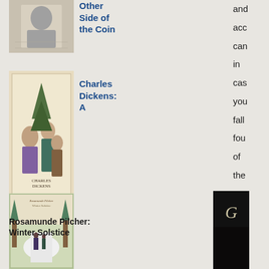[Figure (photo): Book cover for 'The Other Side of the Coin' with a black and white portrait photo]
Other Side of the Coin
and acc can in cas you fall fou of the eve wa par
[Figure (photo): Book cover for Charles Dickens: A Christmas Carol, showing a Victorian Christmas scene illustration]
Charles Dickens: A
Christmas Carol
[Figure (photo): Book cover for Rosamunde Pilcher: Winter Solstice showing a snowy path with figures]
Rosamunde Pilcher: Winter Solstice
[Figure (photo): Partial book cover with dark/black background and decorative letter]